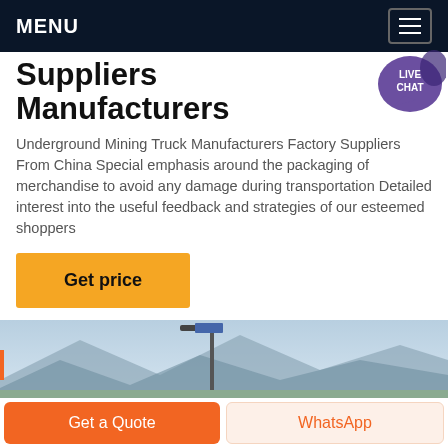MENU
Suppliers Manufacturers
Underground Mining Truck Manufacturers Factory Suppliers From China Special emphasis around the packaging of merchandise to avoid any damage during transportation Detailed interest into the useful feedback and strategies of our esteemed shoppers
Get price
[Figure (photo): Outdoor scene with a street light pole against a mountain background]
Get a Quote
WhatsApp